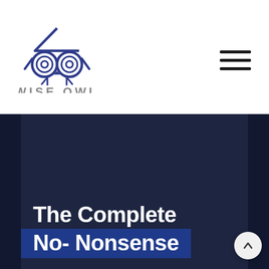[Figure (logo): Wise Owl Property logo — a stylized owl face (two circular eyes with concentric rings, a diamond roof shape on top, small beak and feet) in dark blue/navy, with 'WISE OWL' in large grey capitals and 'PROPERTY' in smaller grey letters beneath.]
[Figure (other): Hamburger menu icon — three horizontal dark bars stacked vertically.]
The Complete No- Nonsense